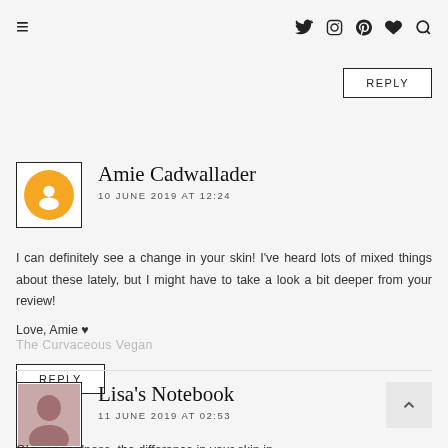≡  [Twitter] [Instagram] [Pinterest] [Heart] [Search]
REPLY
Amie Cadwallader
10 JUNE 2019 AT 12:24
I can definitely see a change in your skin! I've heard lots of mixed things about these lately, but I might have to take a look a bit deeper from your review!
Love, Amie ♥
The Curvaceous Vegan
REPLY
Lisa's Notebook
11 JUNE 2019 AT 02:53
Oh my goodness, the difference in your skin in